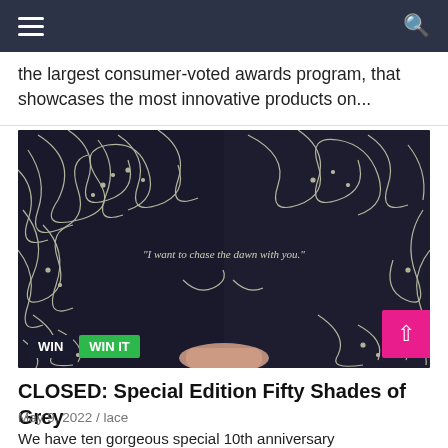Navigation bar with hamburger menu and search icon
the largest consumer-voted awards program, that showcases the most innovative products on...
[Figure (photo): Open book showing decorative white floral/swirl designs on dark pages with the text 'I want to chase the dawn with you.' and WIN / WIN IT badges in the bottom left corner.]
CLOSED: Special Edition Fifty Shades of Grey
May 9, 2022 / lace
We have ten gorgeous special 10th anniversary